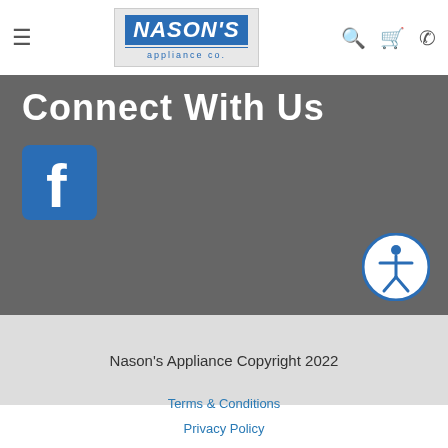Nason's Appliance Co. — navigation bar with hamburger menu, logo, search, cart, and phone icons
Connect With Us
[Figure (logo): Facebook logo icon — blue square with white 'f']
[Figure (infographic): Accessibility icon — circular button with person symbol]
Nason's Appliance Copyright 2022
Terms & Conditions
Privacy Policy
Accessibility